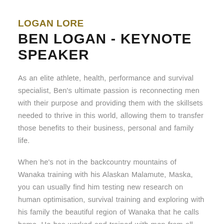LOGAN LORE
BEN LOGAN - KEYNOTE SPEAKER
As an elite athlete, health, performance and survival specialist, Ben’s ultimate passion is reconnecting men with their purpose and providing them with the skillsets needed to thrive in this world, allowing them to transfer those benefits to their business, personal and family life.
When he’s not in the backcountry mountains of Wanaka training with his Alaskan Malamute, Maska, you can usually find him testing new research on human optimisation, survival training and exploring with his family the beautiful region of Wanaka that he calls home. He has worked and trained with men from all